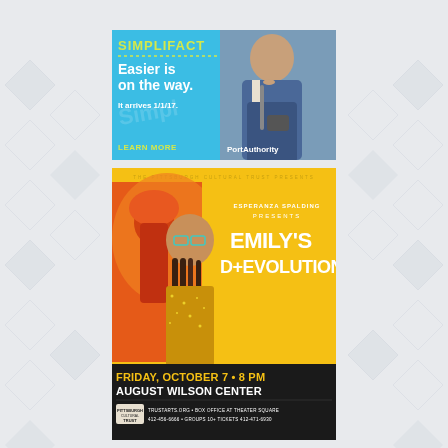[Figure (advertisement): Port Authority Simplifact advertisement on blue background with photo of young man. Text: SIMPLIFACT, Easier is on the way. It arrives 1/1/17. LEARN MORE. PortAuthority.]
[Figure (advertisement): Pittsburgh Cultural Trust presents Esperanza Spalding presents Emily's D+Evolution. Friday, October 7 • 8 PM, August Wilson Center. TRUSTARTS.ORG • BOX OFFICE AT THEATER SQUARE 412-456-6666 • GROUPS 10+ TICKETS 412-471-6930. Yellow and black ad with woman portrait.]